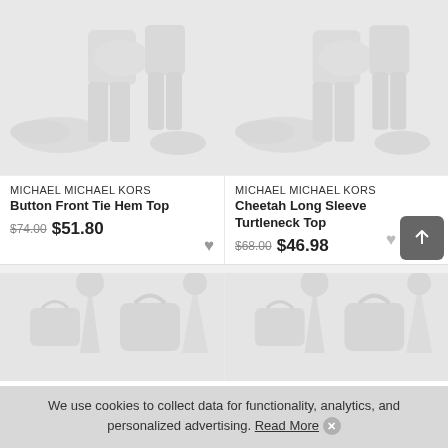[Figure (illustration): Fashion placeholder image showing shoes, top, pants icons on light gray background - product 1]
MICHAEL MICHAEL KORS
Button Front Tie Hem Top
$74.00 $51.80
[Figure (illustration): Fashion placeholder image showing shoes, top, pants icons on light gray background - product 2]
MICHAEL MICHAEL KORS
Cheetah Long Sleeve Turtleneck Top
$68.00 $46.98
[Figure (illustration): Fashion placeholder image showing bag and dress icons on light gray background - product 3]
[Figure (illustration): Fashion placeholder image showing bag and dress icons on light gray background - product 4]
We use cookies to collect data for functionality, analytics, and personalized advertising. Read More ×